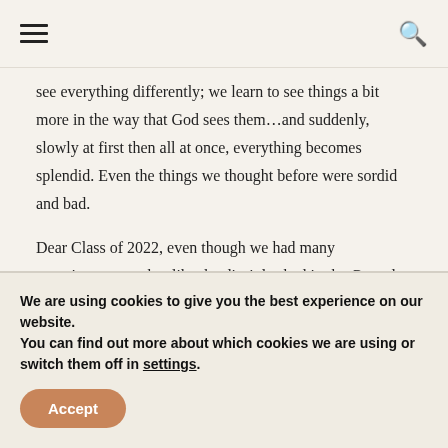see everything differently; we learn to see things a bit more in the way that God sees them…and suddenly, slowly at first then all at once, everything becomes splendid. Even the things we thought before were sordid and bad.
Dear Class of 2022, even though we had many experiences together like the disciples had in the Gospel today, where you looked at each other in class and said, "We do not know what he means." You gave me a
We are using cookies to give you the best experience on our website.
You can find out more about which cookies we are using or switch them off in settings.
Accept